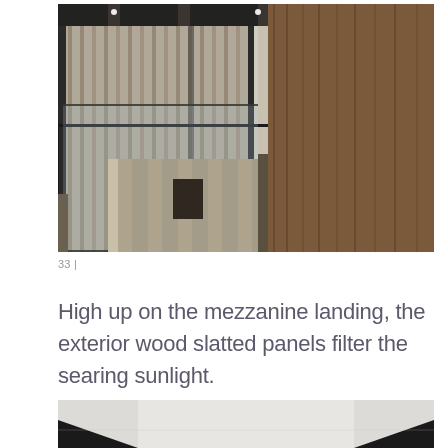[Figure (photo): Interior architectural photograph taken from mezzanine level looking down a long corridor with floor-to-ceiling glass windows on the left showing exterior wood slatted panels, glass balustrade railing, and warm timber wall panels on the right, with natural light casting slanted shadows across the wooden floor below.]
33 |
High up on the mezzanine landing, the exterior wood slatted panels filter the searing sunlight.
[Figure (photo): Partial view of an interior architectural space with a light gray ceiling and dark angular structural elements or cabinetry in the lower portion, cropped at the bottom of the page.]